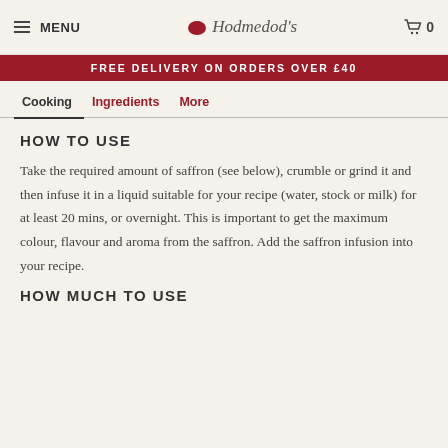MENU  Hodmedod's  0
FREE DELIVERY ON ORDERS OVER £40
Cooking  Ingredients  More
HOW TO USE
Take the required amount of saffron (see below), crumble or grind it and then infuse it in a liquid suitable for your recipe (water, stock or milk) for at least 20 mins, or overnight. This is important to get the maximum colour, flavour and aroma from the saffron. Add the saffron infusion into your recipe.
HOW MUCH TO USE